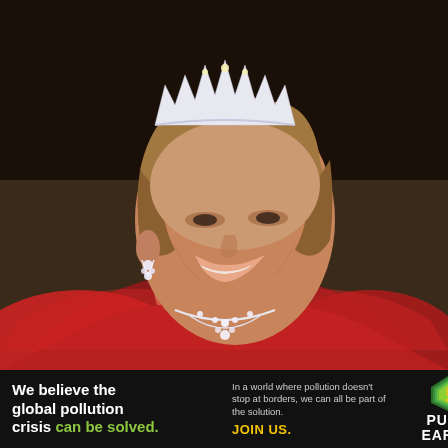[Figure (photo): Portrait photo of an older woman wearing a diamond tiara, diamond earrings, and a diamond necklace, dressed in a red gown/shawl, smiling and looking to the right. Dark background.]
We believe the global pollution crisis can be solved. In a world where pollution doesn't stop at borders, we can all be part of the solution. JOIN US.
[Figure (logo): Pure Earth logo — a diamond/shield shape with layered green/yellow stripes and an exclamation mark, next to the text PURE EARTH in white bold letters.]